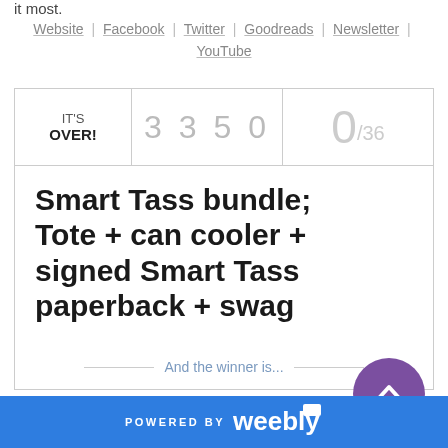it most.
Website | Facebook | Twitter | Goodreads | Newsletter | YouTube
[Figure (infographic): Giveaway widget showing IT'S OVER! status, entry count 3350, 0/36 entries used, prize text: Smart Tass bundle; Tote + can cooler + signed Smart Tass paperback + swag, with a purple scroll-up button and 'And the winner is...' footer]
POWERED BY weebly